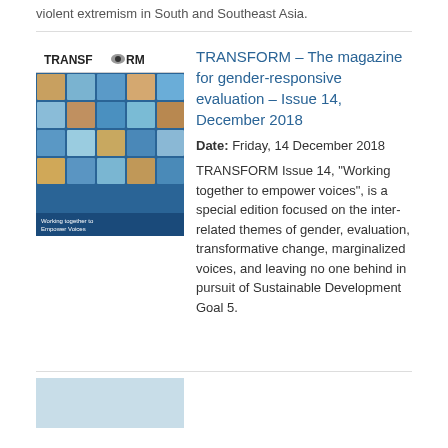violent extremism in South and Southeast Asia.
[Figure (photo): Cover of TRANSFORM magazine Issue 14 showing a grid of diverse faces on a blue background with the TRANSFORM logo at the top]
TRANSFORM – The magazine for gender-responsive evaluation – Issue 14, December 2018
Date: Friday, 14 December 2018
TRANSFORM Issue 14, "Working together to empower voices", is a special edition focused on the inter-related themes of gender, evaluation, transformative change, marginalized voices, and leaving no one behind in pursuit of Sustainable Development Goal 5.
[Figure (photo): Partial view of another publication cover with light blue background]